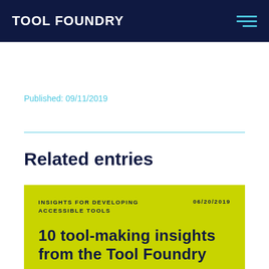TOOL FOUNDRY
Published: 09/11/2019
Related entries
INSIGHTS FOR DEVELOPING ACCESSIBLE TOOLS   06/20/2019
10 tool-making insights from the Tool Foundry